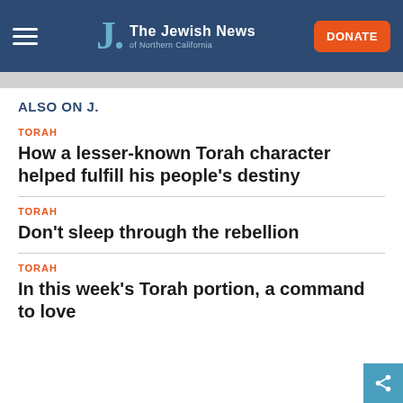The Jewish News of Northern California
ALSO ON J.
TORAH
How a lesser-known Torah character helped fulfill his people’s destiny
TORAH
Don’t sleep through the rebellion
TORAH
In this week’s Torah portion, a command to love